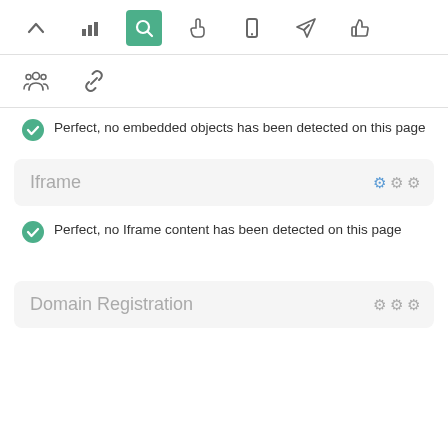[Figure (screenshot): Toolbar row 1 with navigation icons: chevron up, bar chart, search (active/highlighted green), pointer, mobile, send, thumbs up]
[Figure (screenshot): Toolbar row 2 with two icons: group/people and chain link]
Perfect, no embedded objects has been detected on this page
Iframe
Perfect, no Iframe content has been detected on this page
Domain Registration